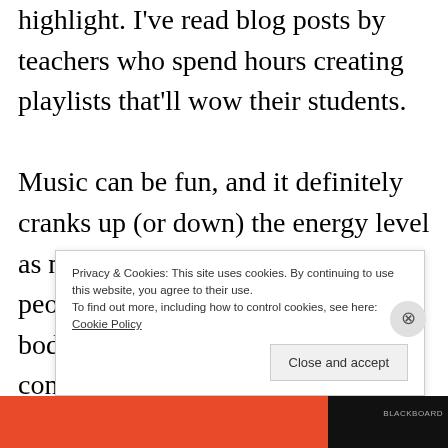highlight. I've read blog posts by teachers who spend hours creating playlists that'll wow their students.
Music can be fun, and it definitely cranks up (or down) the energy level as needed. But, to me, it takes people out of their minds and bodies. Songs have unique connotations to us. They remind us of people, places, and the past. Should we be daydreaming in the midst of class?
Privacy & Cookies: This site uses cookies. By continuing to use this website, you agree to their use.
To find out more, including how to control cookies, see here: Cookie Policy
Close and accept